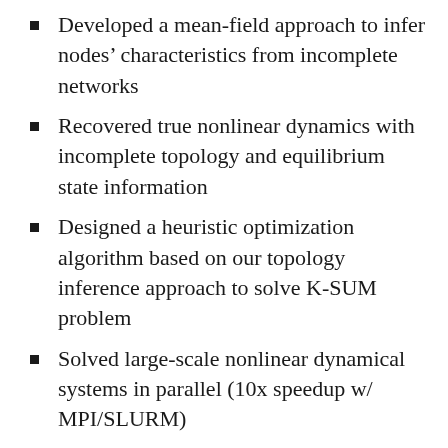Developed a mean-field approach to infer nodes’ characteristics from incomplete networks
Recovered true nonlinear dynamics with incomplete topology and equilibrium state information
Designed a heuristic optimization algorithm based on our topology inference approach to solve K-SUM problem
Solved large-scale nonlinear dynamical systems in parallel (10x speedup w/ MPI/SLURM)
Techniques: graph sampling, link prediction, mean-field, optimization,